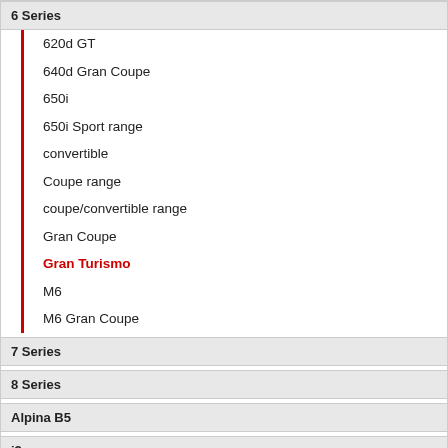6 Series
620d GT
640d Gran Coupe
650i
650i Sport range
convertible
Coupe range
coupe/convertible range
Gran Coupe
Gran Turismo
M6
M6 Gran Coupe
7 Series
8 Series
Alpina B5
i3
i4